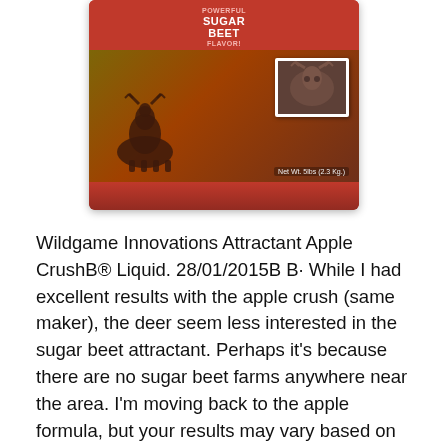[Figure (photo): Product image of Wildgame Innovations Sugar Beet Crush attractant container, showing a red/dark red cylindrical container with 'POWERFUL SUGAR BEET FLAVOR' label, a deer silhouette, and inset photo of a deer.]
Wildgame Innovations Attractant Apple CrushB® Liquid. 28/01/2015B B· While I had excellent results with the apple crush (same maker), the deer seem less interested in the sugar beet attractant. Perhaps it's because there are no sugar beet farms anywhere near the area. I'm moving back to the apple formula, but your results may vary based on habitat, browse, and feeding patterns., Sugar Beet Crush 5lb mfg# 00076 Sugar Beet crush is real sugar beets that have been crushed and blended with fresh heat